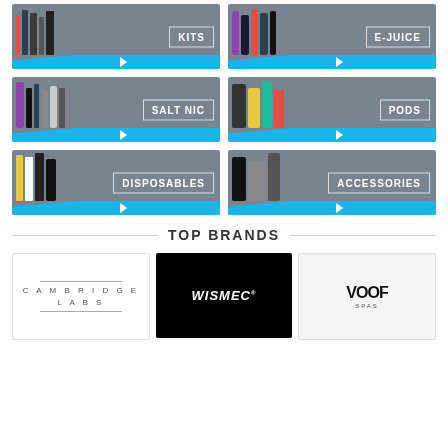[Figure (photo): KITS category tile with vape kit products on grey background with blue accent]
[Figure (photo): E-JUICE category tile with e-juice bottles on grey background with blue accent]
[Figure (photo): SALT NIC category tile with salt nicotine products on grey background with blue accent]
[Figure (photo): PODS category tile with pod devices on grey background with blue accent]
[Figure (photo): DISPOSABLES category tile with disposable vapes on grey background with blue accent]
[Figure (photo): ACCESSORIES category tile with vape accessories on grey background with blue accent]
TOP BRANDS
[Figure (logo): Cambridge Labs logo in white background]
[Figure (logo): WISMEC logo in black background]
[Figure (logo): VOOF logo in light grey background]